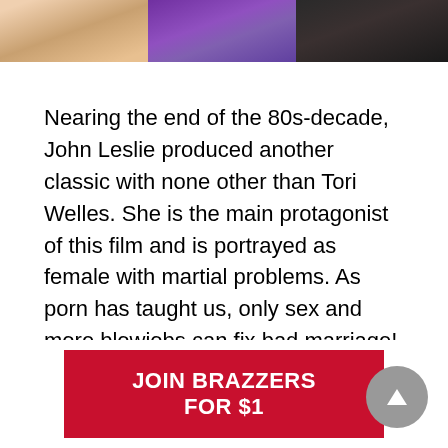[Figure (photo): Strip of three photos at top of page showing people against different colored backgrounds]
Nearing the end of the 80s-decade, John Leslie produced another classic with none other than Tori Welles. She is the main protagonist of this film and is portrayed as female with martial problems. As porn has taught us, only sex and more blowjobs can fix bad marriage!
But wait, this is no random nonsense script. Diana (Tori Welles) can transform into any woman and fuck anyone. How's that for a new layer of twists?
[Figure (other): Red banner button reading JOIN BRAZZERS FOR $1 with a grey circular scroll-to-top arrow button]